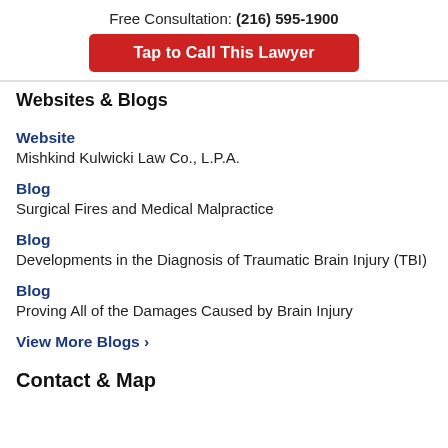Free Consultation: (216) 595-1900
Tap to Call This Lawyer
Websites & Blogs
Website
Mishkind Kulwicki Law Co., L.P.A.
Blog
Surgical Fires and Medical Malpractice
Blog
Developments in the Diagnosis of Traumatic Brain Injury (TBI)
Blog
Proving All of the Damages Caused by Brain Injury
View More Blogs ›
Contact & Map